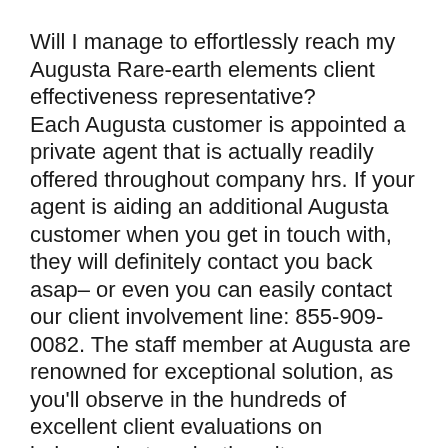Will I manage to effortlessly reach my Augusta Rare-earth elements client effectiveness representative?
Each Augusta customer is appointed a private agent that is actually readily offered throughout company hrs. If your agent is aiding an additional Augusta customer when you get in touch with, they will definitely contact you back asap– or even you can easily contact our client involvement line: 855-909-0082. The staff member at Augusta are renowned for exceptional solution, as you'll observe in the hundreds of excellent client evaluations on independent evaluation sites.
What forms of gold and silver carries out